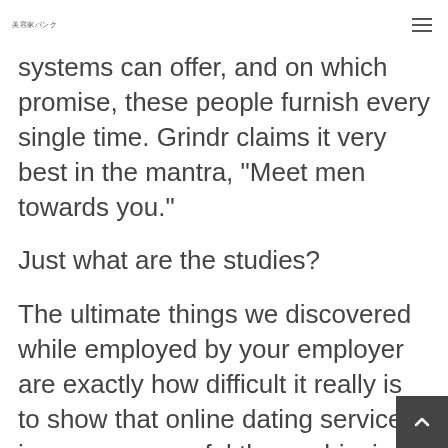美容家バンク
systems can offer, and on which promise, these people furnish every single time. Grindr claims it very best in the mantra, “Meet men towards you.”
Just what are the studies?
The ultimate things we discovered while employed by your employer are exactly how difficult it really is to show that online dating services is more successful than achieving an individual directly. Howeve